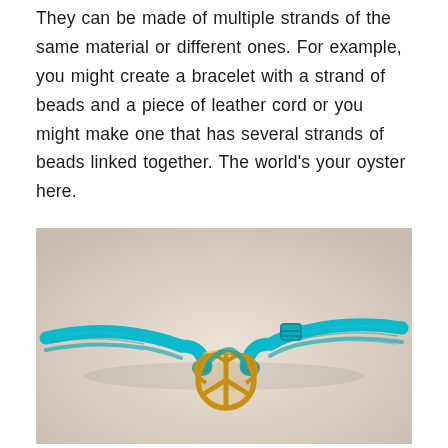They can be made of multiple strands of the same material or different ones. For example, you might create a bracelet with a strand of beads and a piece of leather cord or you might make one that has several strands of beads linked together. The world's your oyster here.
[Figure (photo): A blue macramé bracelet with a gold peace-sign/heart charm pendant, photographed on a light fabric background.]